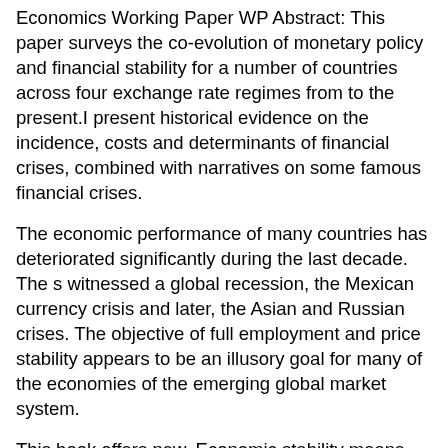Economics Working Paper WP Abstract: This paper surveys the co-evolution of monetary policy and financial stability for a number of countries across four exchange rate regimes from to the present.I present historical evidence on the incidence, costs and determinants of financial crises, combined with narratives on some famous financial crises.
The economic performance of many countries has deteriorated significantly during the last decade. The s witnessed a global recession, the Mexican currency crisis and later, the Asian and Russian crises. The objective of full employment and price stability appears to be an illusory goal for many of the economies of the emerging global market system.
This book offers new. Economic stability means the economy of a region or country shows no wide fluctuations in key measures of economic performance, such as gross domestic product, unemployment or inflation.
Rather, stable economies demonstrate modest growth in GDP and jobs while holding inflation to a minimum. The IMF advises member countries...